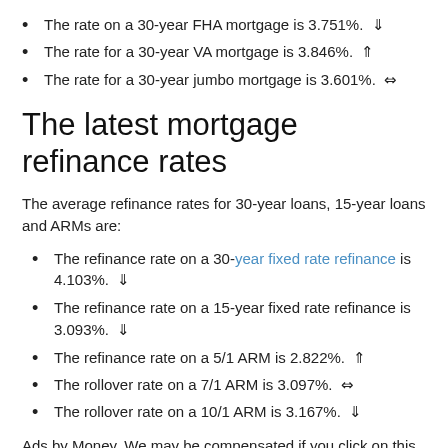The rate on a 30-year FHA mortgage is 3.751%. ⇓
The rate for a 30-year VA mortgage is 3.846%. ⇑
The rate for a 30-year jumbo mortgage is 3.601%. ⇔
The latest mortgage refinance rates
The average refinance rates for 30-year loans, 15-year loans and ARMs are:
The refinance rate on a 30-year fixed rate refinance is 4.103%. ⇓
The refinance rate on a 15-year fixed rate refinance is 3.093%. ⇓
The refinance rate on a 5/1 ARM is 2.822%. ⇑
The rollover rate on a 7/1 ARM is 3.097%. ⇔
The rollover rate on a 10/1 ARM is 3.167%. ⇓
Ads by Money. We may be compensated if you click on this ad. A d